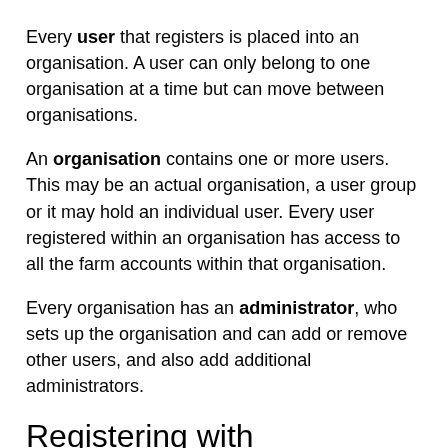Every user that registers is placed into an organisation. A user can only belong to one organisation at a time but can move between organisations.
An organisation contains one or more users. This may be an actual organisation, a user group or it may hold an individual user. Every user registered within an organisation has access to all the farm accounts within that organisation.
Every organisation has an administrator, who sets up the organisation and can add or remove other users, and also add additional administrators.
Registering with OverseerFM
All users of OverseerFM will need to register, including previous users of the legacy OVERSEER Nutrient Budgets software. User registrations are set up to provide for both individual users and organisations with multiple users.